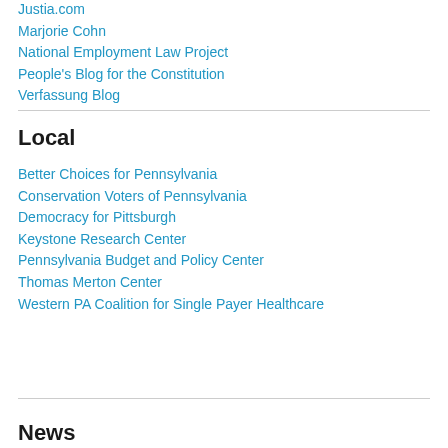Justia.com
Marjorie Cohn
National Employment Law Project
People's Blog for the Constitution
Verfassung Blog
Local
Better Choices for Pennsylvania
Conservation Voters of Pennsylvania
Democracy for Pittsburgh
Keystone Research Center
Pennsylvania Budget and Policy Center
Thomas Merton Center
Western PA Coalition for Single Payer Healthcare
News